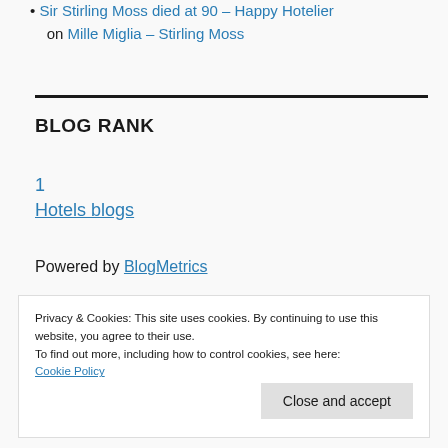Sir Stirling Moss died at 90 – Happy Hotelier on Mille Miglia – Stirling Moss
BLOG RANK
1
Hotels blogs
Powered by BlogMetrics
Privacy & Cookies: This site uses cookies. By continuing to use this website, you agree to their use. To find out more, including how to control cookies, see here: Cookie Policy
Close and accept